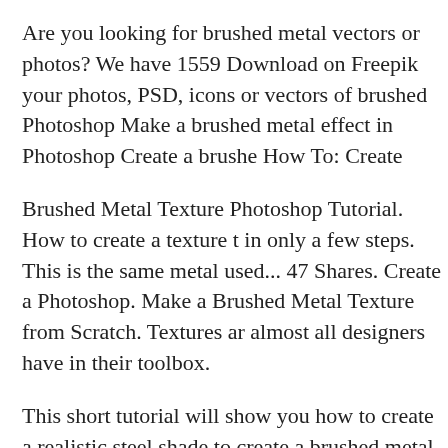Are you looking for brushed metal vectors or photos? We have 1559 Download on Freepik your photos, PSD, icons or vectors of brushed Photoshop Make a brushed metal effect in Photoshop Create a brushe How To: Create
Brushed Metal Texture Photoshop Tutorial. How to create a texture t in only a few steps. This is the same metal used... 47 Shares. Create a Photoshop. Make a Brushed Metal Texture from Scratch. Textures ar almost all designers have in their toolbox.
This short tutorial will show you how to create a realistic steel shade to create a brushed metal effect on the base of a pot Create a brushed explore how we can reproduce that kind of material with We have us created in Photoshop.
One of the key challenges to creating a good brushed metal surface y metal texture Maya tutorial. Brass metal texture Photoshop tutorial; 7 response to a reader I will show you how to create the brushed alumi Brushed Metal Surface in Photoshop.